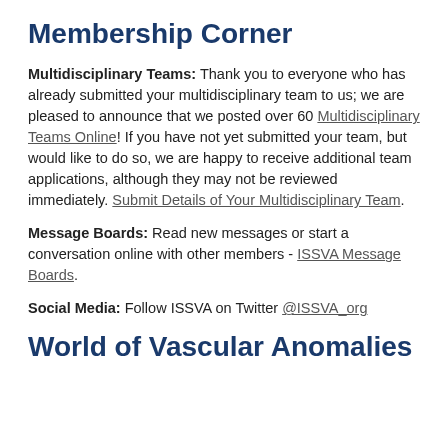Membership Corner
Multidisciplinary Teams: Thank you to everyone who has already submitted your multidisciplinary team to us; we are pleased to announce that we posted over 60 Multidisciplinary Teams Online! If you have not yet submitted your team, but would like to do so, we are happy to receive additional team applications, although they may not be reviewed immediately. Submit Details of Your Multidisciplinary Team.
Message Boards: Read new messages or start a conversation online with other members - ISSVA Message Boards.
Social Media: Follow ISSVA on Twitter @ISSVA_org
World of Vascular Anomalies